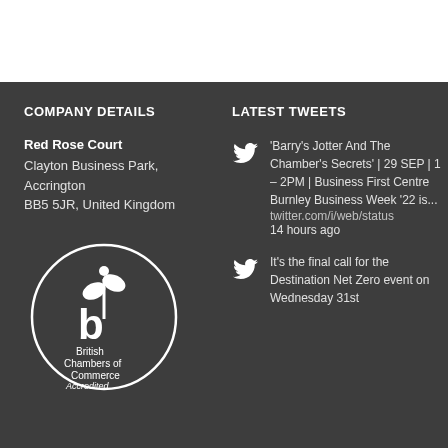COMPANY DETAILS
Red Rose Court
Clayton Business Park, Accrington
BB5 5JR, United Kingdom
[Figure (logo): British Chambers of Commerce Accredited circular logo with stylized plant/leaf icon]
LATEST TWEETS
'Barry's Jotter And The Chamber's Secrets' | 29 SEP | 1 – 2PM | Business First Centre Burnley Business Week '22 is... twitter.com/i/web/status 14 hours ago
It's the final call for the Destination Net Zero event on Wednesday 31st